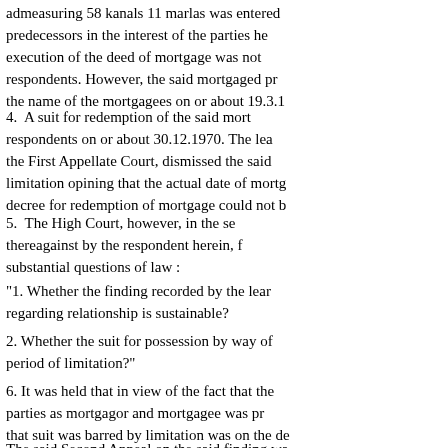admeasuring 58 kanals 11 marlas was entered in the name of predecessors in the interest of the parties here. However, execution of the deed of mortgage was not admitted by the respondents. However, the said mortgaged property was mutated in the name of the mortgagees on or about 19.3.1...
4. A suit for redemption of the said mortgage was filed by respondents on or about 30.12.1970. The learned trial Court and the First Appellate Court, dismissed the said suit as barred by limitation opining that the actual date of mortgage... decree for redemption of mortgage could not b...
5. The High Court, however, in the second appeal filed thereagainst by the respondent herein, formulated two substantial questions of law :
"1. Whether the finding recorded by the learned Courts below regarding relationship is sustainable?
2. Whether the suit for possession by way of redemption is within period of limitation?"
6. It was held that in view of the fact that the relationship of the parties as mortgagor and mortgagee was proved, the finding that suit was barred by limitation was on the de...
The said Second Appeal on the said finding wa...
7. Mr. Shambhu Prasad Singh, learned counsel appearing for the appellant, would submit that the question of... jurisdiction, the High Court committed a seri...